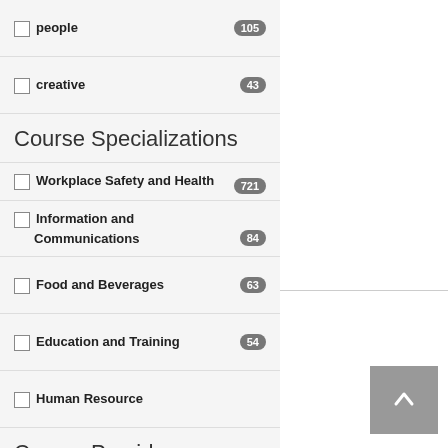people 105
creative 43
Course Specializations
Workplace Safety and Health 721
Information and Communications 84
Food and Beverages 63
Education and Training 54
Human Resource
Course Providers
COMAT TRAINING SERVICES PTE LTD 137